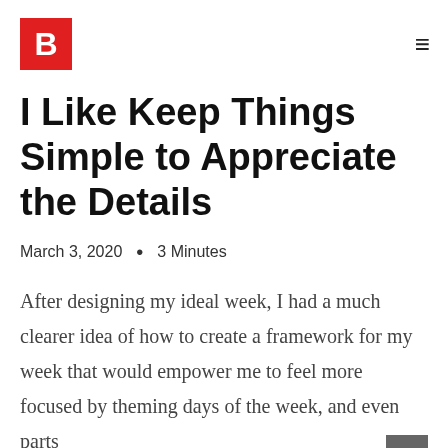B
I Like Keep Things Simple to Appreciate the Details
March 3, 2020  •  3 Minutes
After designing my ideal week, I had a much clearer idea of how to create a framework for my week that would empower me to feel more focused by theming days of the week, and even parts